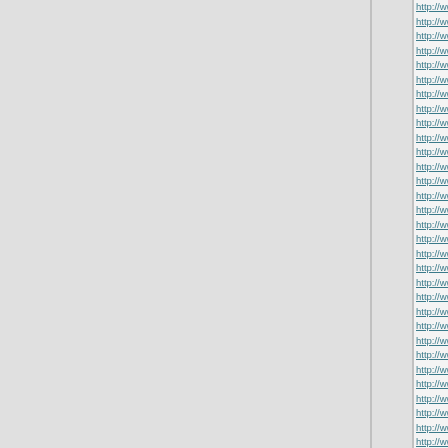http://www.pandoracanadasale... http://www.fitflop-canada.ca/ http://www.fitfloptrainer.co.uk/ http://www.moncleroutlet.co.uk/ http://www.pandoracharmsclea... http://www.brooks-canada.ca/ http://www.fitflopsale.org.uk/ http://www.offwhite-canada.ca/ http://www.jimmychooheels.us... http://www.yeezy-380.us/ http://www.hydroflasks.us.org/ http://www.redbottomsforwome... http://www.adidasstansmith.us... http://www.skecherswomensho... http://www.dolcegabbanashoes... http://www.adidas-store.us/ http://www.fitflopshoescanada.c... http://www.tommyhilfigerclothin... http://www.tommyhilfigeroutlet.u... http://www.brookssneakers.us/ http://www.vans-outlet.us/ http://www.redbottom-shoes.us... http://www.keen-shoes.us/ http://www.burberryoutlet.us.org... http://www.yeezyboost-700.us/ http://www.edhardyclothingoutle... http://www.coachbagsoutlet.us... http://www.adidasstore.us/ http://www.birkenstocksandals-... http://www.pandorajewelryclear... http://www.eccosandals.us.org/ http://www.skechers-trainers.co... http://www.coachhandbagsoutl... http://www.christianlouboutin-s... http://www.keensandalscanada... http://www.vibramshoesoutlet.u... http://www.longchampbagsuk.c... http://www.poloralphlauren-ca...